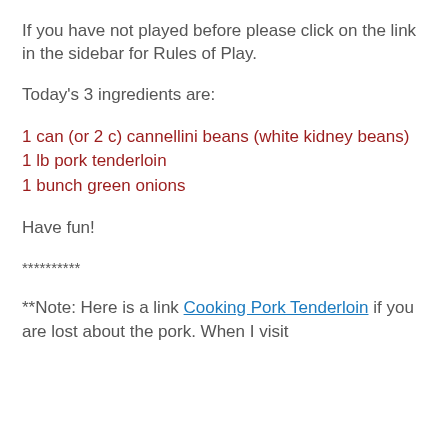If you have not played before please click on the link in the sidebar for Rules of Play.
Today's 3 ingredients are:
1 can (or 2 c) cannellini beans (white kidney beans)
1 lb pork tenderloin
1 bunch green onions
Have fun!
**********
**Note: Here is a link Cooking Pork Tenderloin if you are lost about the pork. When I visit